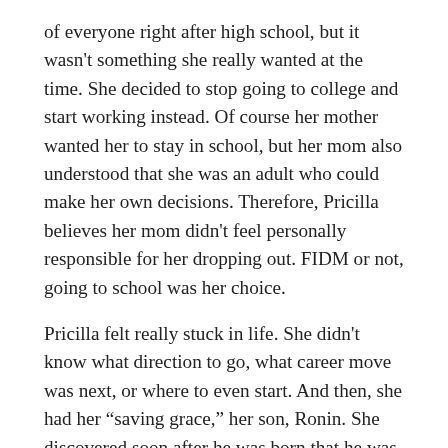of everyone right after high school, but it wasn't something she really wanted at the time. She decided to stop going to college and start working instead. Of course her mother wanted her to stay in school, but her mom also understood that she was an adult who could make her own decisions. Therefore, Pricilla believes her mom didn't feel personally responsible for her dropping out. FIDM or not, going to school was her choice.
Pricilla felt really stuck in life. She didn't know what direction to go, what career move was next, or where to even start. And then, she had her “saving grace,” her son, Ronin. She discovered soon after he was born that he was the push she needed all along to pursue her life-long dream of being a business owner. Pricilla knew it was finally time to put all of